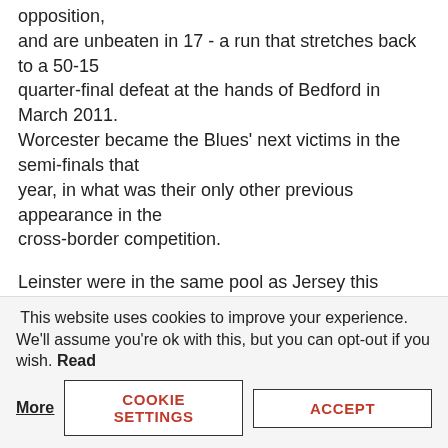opposition, and are unbeaten in 17 - a run that stretches back to a 50-15 quarter-final defeat at the hands of Bedford in March 2011. Worcester became the Blues' next victims in the semi-finals that year, in what was their only other previous appearance in the cross-border competition.

Leinster were in the same pool as Jersey this season, winning 26-6 on home soil in Dublin and edging a close contest at St Peter by 21-22. The Irish province are just two wins away from landing a hat-trick of titles, having won the 2013 and 2014
This website uses cookies to improve your experience. We'll assume you're ok with this, but you can opt-out if you wish. Read More
COOKIE SETTINGS
ACCEPT